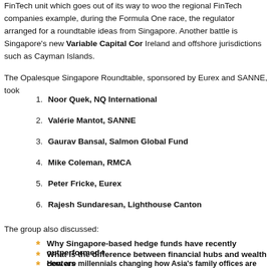FinTech unit which goes out of its way to woo the regional FinTech companies example, during the Formula One race, the regulator arranged for a roundtable ideas from Singapore. Another battle is Singapore's new Variable Capital Cor Ireland and offshore jurisdictions such as Cayman Islands.
The Opalesque Singapore Roundtable, sponsored by Eurex and SANNE, took
1. Noor Quek, NQ International
2. Valérie Mantot, SANNE
3. Gaurav Bansal, Salmon Global Fund
4. Mike Coleman, RMCA
5. Peter Fricke, Eurex
6. Rajesh Sundaresan, Lighthouse Canton
The group also discussed:
Why Singapore-based hedge funds have recently outperformed t
What is the difference between financial hubs and wealth centers
How are millennials changing how Asia's family offices are run?
What opportunities do fund managers see in ASEAN?